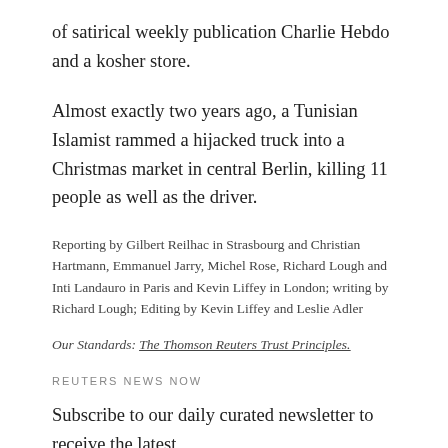of satirical weekly publication Charlie Hebdo and a kosher store.
Almost exactly two years ago, a Tunisian Islamist rammed a hijacked truck into a Christmas market in central Berlin, killing 11 people as well as the driver.
Reporting by Gilbert Reilhac in Strasbourg and Christian Hartmann, Emmanuel Jarry, Michel Rose, Richard Lough and Inti Landauro in Paris and Kevin Liffey in London; writing by Richard Lough; Editing by Kevin Liffey and Leslie Adler
Our Standards: The Thomson Reuters Trust Principles.
REUTERS NEWS NOW
Subscribe to our daily curated newsletter to receive the latest